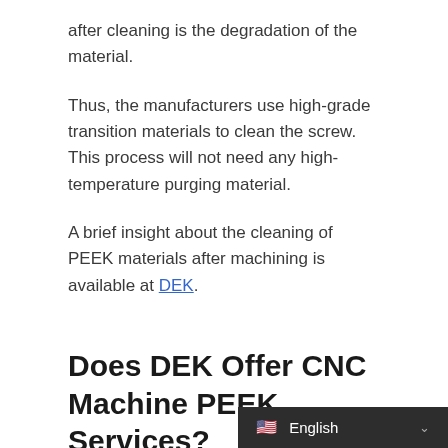after cleaning is the degradation of the material.
Thus, the manufacturers use high-grade transition materials to clean the screw. This process will not need any high-temperature purging material.
A brief insight about the cleaning of PEEK materials after machining is available at DEK.
Does DEK Offer CNC Machine PEEK Services?
English